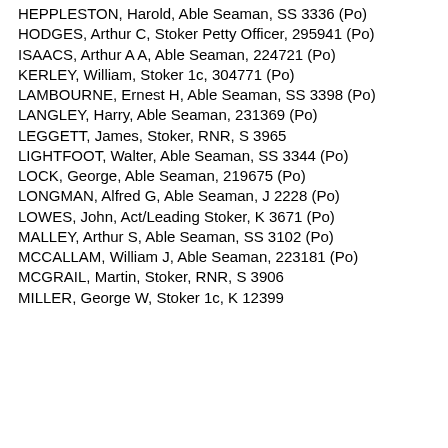HEPPLESTON, Harold, Able Seaman, SS 3336 (Po)
HODGES, Arthur C, Stoker Petty Officer, 295941 (Po)
ISAACS, Arthur A A, Able Seaman, 224721 (Po)
KERLEY, William, Stoker 1c, 304771 (Po)
LAMBOURNE, Ernest H, Able Seaman, SS 3398 (Po)
LANGLEY, Harry, Able Seaman, 231369 (Po)
LEGGETT, James, Stoker, RNR, S 3965
LIGHTFOOT, Walter, Able Seaman, SS 3344 (Po)
LOCK, George, Able Seaman, 219675 (Po)
LONGMAN, Alfred G, Able Seaman, J 2228 (Po)
LOWES, John, Act/Leading Stoker, K 3671 (Po)
MALLEY, Arthur S, Able Seaman, SS 3102 (Po)
MCCALLAM, William J, Able Seaman, 223181 (Po)
MCGRAIL, Martin, Stoker, RNR, S 3906
MILLER, George W, Stoker 1c, K 12399